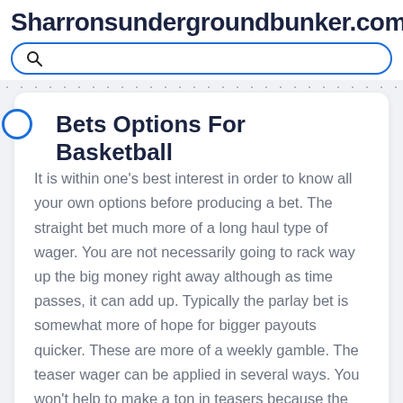Sharronsundergroundbunker.com
Bets Options For Basketball
It is within one's best interest in order to know all your own options before producing a bet. The straight bet much more of a long haul type of wager. You are not necessarily going to rack way up the big money right away although as time passes, it can add up. Typically the parlay bet is somewhat more of hope for bigger payouts quicker. These are more of a weekly gamble. The teaser wager can be applied in several ways. You won't help to make a ton in teasers because the winnings are lower although they are a now good way